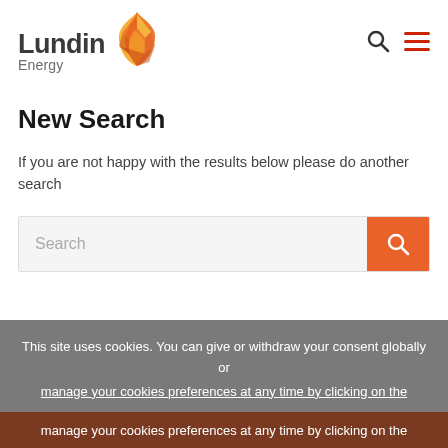Lundin Energy
New Search
If you are not happy with the results below please do another search
[Figure (screenshot): Search input bar with orange search button]
This site uses cookies. You can give or withdraw your consent globally or manage your cookies preferences at any time by clicking on the